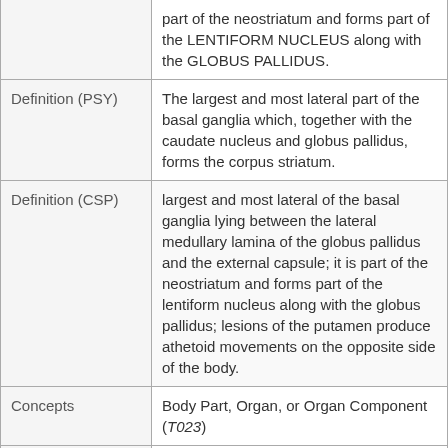| Field | Value |
| --- | --- |
|  | part of the neostriatum and forms part of the LENTIFORM NUCLEUS along with the GLOBUS PALLIDUS. |
| Definition (PSY) | The largest and most lateral part of the basal ganglia which, together with the caudate nucleus and globus pallidus, forms the corpus striatum. |
| Definition (CSP) | largest and most lateral of the basal ganglia lying between the lateral medullary lamina of the globus pallidus and the external capsule; it is part of the neostriatum and forms part of the lentiform nucleus along with the globus pallidus; lesions of the putamen produce athetoid movements on the opposite side of the body. |
| Concepts | Body Part, Organ, or Organ Component (T023) |
| MSH | D011699 |
| SnomedCT | 89278009 |
|  | Putamen, Putamens, Pu, putamen, Nucleus putamen, PUTAMEN, Putamens... |